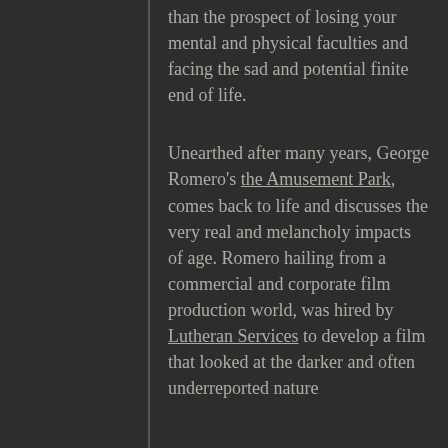than the prospect of losing your mental and physical faculties and facing the sad and potential finite end of life.
Unearthed after many years, George Romero's the Amusement Park, comes back to life and discusses the very real and melancholy impacts of age. Romero hailing from a commercial and corporate film production world, was hired by Lutheran Services to develop a film that looked at the darker and often underreported nature